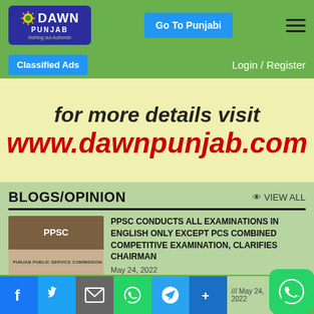[Figure (logo): Dawn Punjab logo - dark blue rounded rectangle with sun graphic, DAWN text, PUNJAB text, tagline Nothing but Authentic]
[Figure (screenshot): Go To Punjabi button - blue rectangle]
[Figure (screenshot): Hamburger menu icon - three horizontal dark lines]
[Figure (screenshot): Classified Ads button - blue rectangle]
Login / Register
[Figure (infographic): Advertisement banner with light yellow background. Top text: 'for more details visit', large red bold text: 'www.dawnpunjab.com']
BLOGS/OPINION
VIEW ALL
[Figure (photo): PPSC - Punjab Public Service Commission logo image]
PPSC CONDUCTS ALL EXAMINATIONS IN ENGLISH ONLY EXCEPT PCS COMBINED COMPETITIVE EXAMINATION, CLARIFIES CHAIRMAN
May 24, 2022
[Figure (infographic): Social media share bar with Facebook, Twitter, Email, WhatsApp, Telegram, and Share+ buttons]
[Figure (infographic): WhatsApp floating button (green circle with phone icon) in bottom right corner]